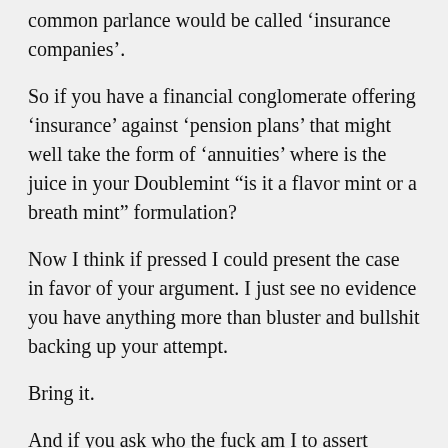common parlance would be called ‘insurance companies’.
So if you have a financial conglomerate offering ‘insurance’ against ‘pension plans’ that might well take the form of ‘annuities’ where is the juice in your Doublemint “is it a flavor mint or a breath mint” formulation?
Now I think if pressed I could present the case in favor of your argument. I just see no evidence you have anything more than bluster and bullshit backing up your attempt.
Bring it.
And if you ask who the fuck am I to assert authority as against you, well a little Google on this topic and